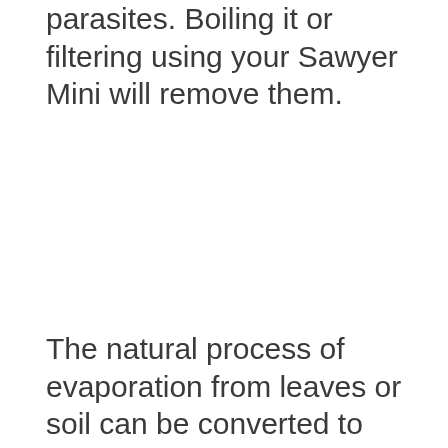parasites.  Boiling it or filtering using your Sawyer Mini will remove them.
The natural process of evaporation from leaves or soil can be converted to use as a water source and here is one simple method: